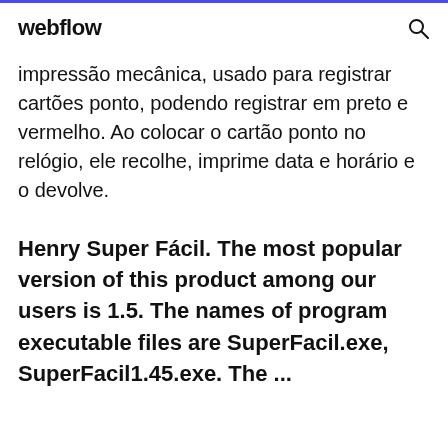webflow
impressão mecânica, usado para registrar cartões ponto, podendo registrar em preto e vermelho. Ao colocar o cartão ponto no relógio, ele recolhe, imprime data e horário e o devolve.
Henry Super Fácil. The most popular version of this product among our users is 1.5. The names of program executable files are SuperFacil.exe, SuperFacil1.45.exe. The ...